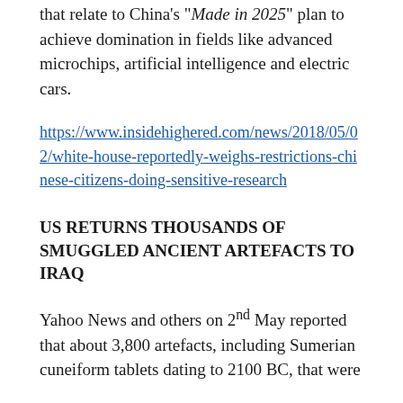that relate to China's "Made in 2025" plan to achieve domination in fields like advanced microchips, artificial intelligence and electric cars.
https://www.insidehighered.com/news/2018/05/02/white-house-reportedly-weighs-restrictions-chinese-citizens-doing-sensitive-research
US RETURNS THOUSANDS OF SMUGGLED ANCIENT ARTEFACTS TO IRAQ
Yahoo News and others on 2nd May reported that about 3,800 artefacts, including Sumerian cuneiform tablets dating to 2100 BC, that were